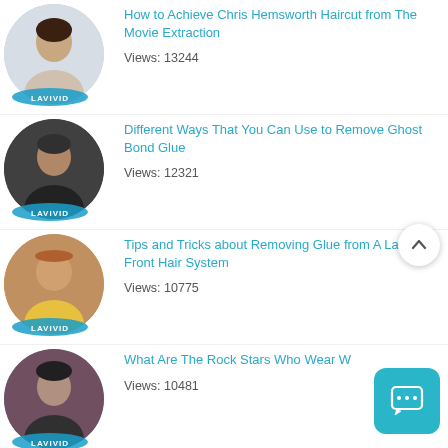How to Achieve Chris Hemsworth Haircut from The Movie Extraction
Views: 13244
Different Ways That You Can Use to Remove Ghost Bond Glue
Views: 12321
Tips and Tricks about Removing Glue from A Lace Front Hair System
Views: 10775
What Are The Rock Stars Who Wear W...
Views: 10481
How to Look Like Tom Selleck